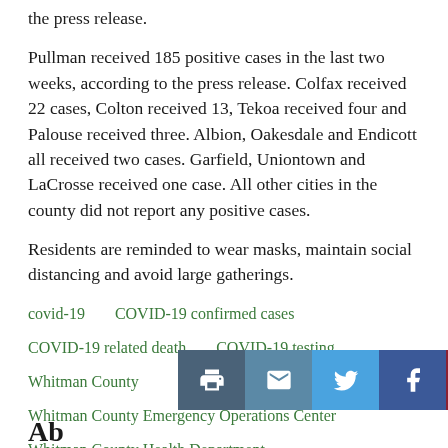the press release.
Pullman received 185 positive cases in the last two weeks, according to the press release. Colfax received 22 cases, Colton received 13, Tekoa received four and Palouse received three. Albion, Oakesdale and Endicott all received two cases. Garfield, Uniontown and LaCrosse received one case. All other cities in the county did not report any positive cases.
Residents are reminded to wear masks, maintain social distancing and avoid large gatherings.
covid-19
COVID-19 confirmed cases
COVID-19 related death
COVID-19 testing
Whitman County
Whitman County Emergency Operations Center
Whitman County Health Department